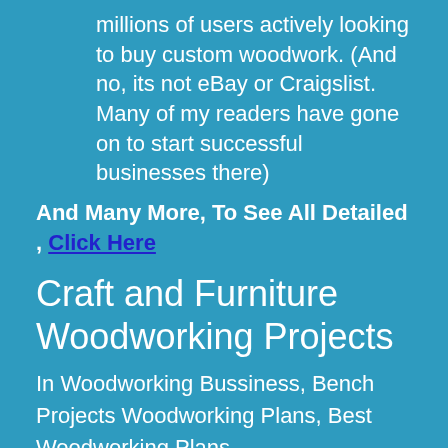millions of users actively looking to buy custom woodwork. (And no, its not eBay or Craigslist. Many of my readers have gone on to start successful businesses there)
And Many More, To See All Detailed , Click Here
Craft and Furniture Woodworking Projects
In Woodworking Bussiness, Bench Projects Woodworking Plans, Best Woodworking Plans